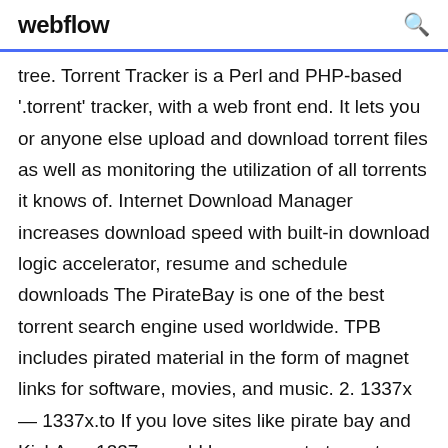webflow
tree. Torrent Tracker is a Perl and PHP-based '.torrent' tracker, with a web front end. It lets you or anyone else upload and download torrent files as well as monitoring the utilization of all torrents it knows of. Internet Download Manager increases download speed with built-in download logic accelerator, resume and schedule downloads The PirateBay is one of the best torrent search engine used worldwide. TPB includes pirated material in the form of magnet links for software, movies, and music. 2. 1337x — 1337x.to If you love sites like pirate bay and KickAss, 1337x would be your go-to torrent download site. By clicking the Download button Install Manager will help you to set up